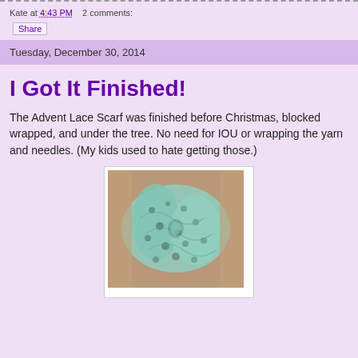Kate at 4:43 PM   2 comments:
Share
Tuesday, December 30, 2014
I Got It Finished!
The Advent Lace Scarf was finished before Christmas, blocked wrapped, and under the tree. No need for IOU or wrapping the yarn and needles. (My kids used to hate getting those.)
[Figure (photo): A light blue/teal lace knitted scarf draped over a brown couch cushion, showing intricate lace pattern]